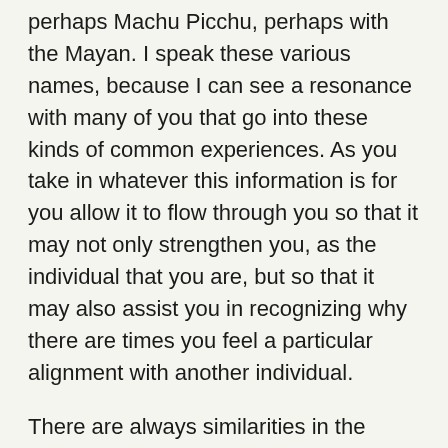perhaps Machu Picchu, perhaps with the Mayan. I speak these various names, because I can see a resonance with many of you that go into these kinds of common experiences. As you take in whatever this information is for you allow it to flow through you so that it may not only strengthen you, as the individual that you are, but so that it may also assist you in recognizing why there are times you feel a particular alignment with another individual.
There are always similarities in the ways in which people create these phases. Take a moment and consider your life. Consider perhaps the one maybe two most prominent issues or things that appear to be a burden to you at this time. As you consider what they are, I invite you to have a sense of detaching from them so that you can think about